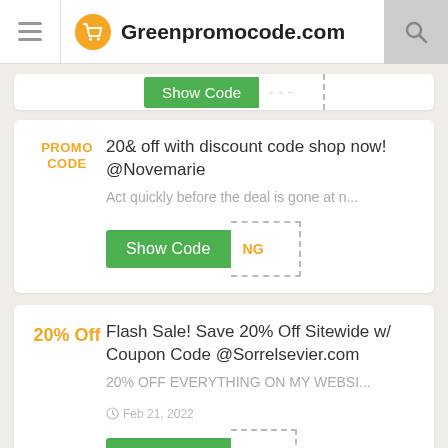Greenpromocode.com
20& off with discount code shop now! @Novemarie
Act quickly before the deal is gone at n...
Show Code NG
Flash Sale! Save 20% Off Sitewide w/ Coupon Code @Sorrelsevier.com
20% OFF EVERYTHING ON MY WEBSI...
Feb 21, 2022
Show Code